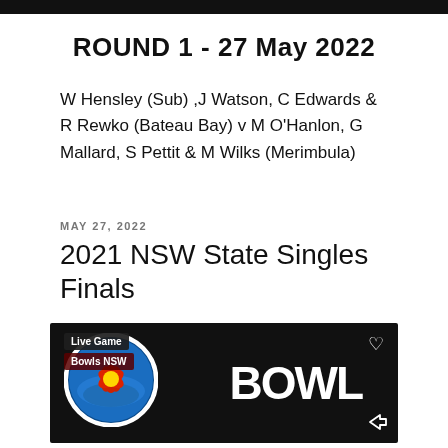ROUND 1 - 27 May 2022
W Hensley (Sub) ,J Watson, C Edwards & R Rewko (Bateau Bay) v M O'Hanlon, G Mallard, S Pettit & M Wilks (Merimbula)
MAY 27, 2022
2021 NSW State Singles Finals
[Figure (screenshot): Thumbnail image with black background showing a Bowls NSW circular logo on the left (with blue and red design), badge overlays reading 'Live Game' and 'Bowls NSW', and large white bold text 'BOWLS' on the right, with a heart icon and share arrow icon.]